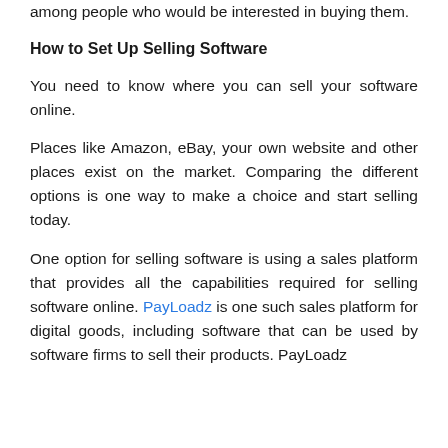among people who would be interested in buying them.
How to Set Up Selling Software
You need to know where you can sell your software online.
Places like Amazon, eBay, your own website and other places exist on the market. Comparing the different options is one way to make a choice and start selling today.
One option for selling software is using a sales platform that provides all the capabilities required for selling software online. PayLoadz is one such sales platform for digital goods, including software that can be used by software firms to sell their products. PayLoadz